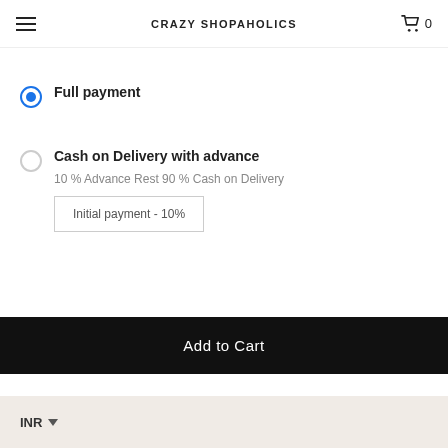CRAZY SHOPAHOLICS
Full payment
Cash on Delivery with advance
10 % Advance Rest 90 % Cash on Delivery
Initial payment - 10%
Add to Cart
INR